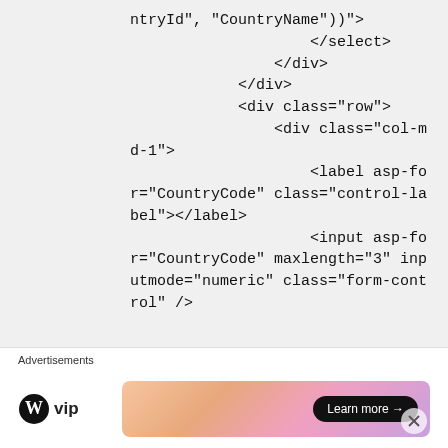ntryId", "CountryName"))>
                    </select>
                </div>
            </div>
            <div class="row">
                <div class="col-md-1">
                    <label asp-for="CountryCode" class="control-label"></label>
                    <input asp-for="CountryCode" maxlength="3" inputmode="numeric" class="form-control" />
Advertisements
[Figure (other): WordPress VIP advertisement banner with logo and Learn more button]